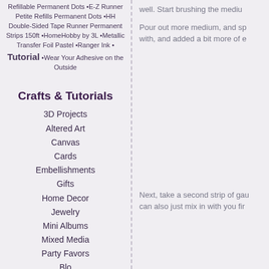Refillable Permanent Dots •E-Z Runner Petite Refills Permanent Dots •HH Double-Sided Tape Runner Permanent Strips 150ft •HomeHobby by 3L •Metallic Transfer Foil Pastel •Ranger Ink • Tutorial •Wear Your Adhesive on the Outside
Crafts & Tutorials
3D Projects
Altered Art
Canvas
Cards
Embellishments
Gifts
Home Decor
Jewelry
Mini Albums
Mixed Media
Party Favors
well. Start brushing the mediu
Pour out more medium, and sp with, and added a bit more of e
Next, take a second strip of gau can also just mix in with you fir